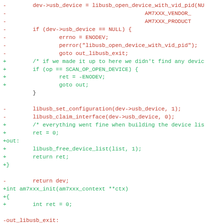[Figure (other): A code diff showing changes to C source code for USB device handling, with removed lines in red (prefixed with -) and added lines in green (prefixed with +).]